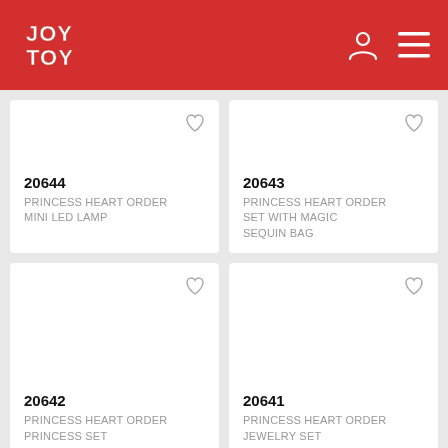JOY TOY
20644 PRINCESS HEART ORDER MINI LED LAMP
20643 PRINCESS HEART ORDER SET WITH MAGIC SEQUIN BAG
20642 PRINCESS HEART ORDER PRINCESS SET
20641 PRINCESS HEART ORDER JEWELRY SET